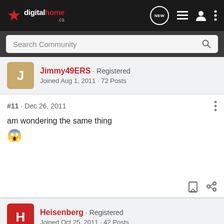digitalhome.ca
Search Community
Jimmy49ERS · Registered
Joined Aug 1, 2011 · 72 Posts
#11 · Dec 26, 2011
am wondering the same thing 😱
Heisenberg · Registered
Joined Oct 25, 2011 · 42 Posts